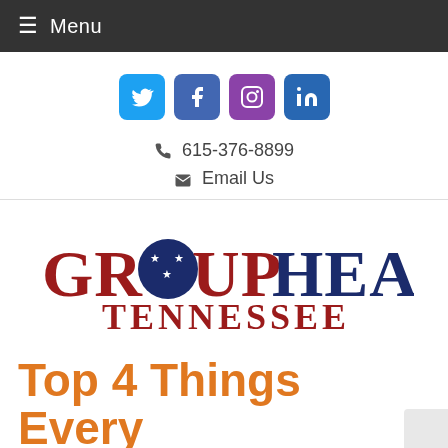≡ Menu
[Figure (logo): Social media icons: Twitter (blue), Facebook (dark blue), Instagram (purple), LinkedIn (blue)]
615-376-8899
Email Us
[Figure (logo): Group Health Tennessee logo with Tennessee state flag circle in 'O' of GROUP, text in red and navy blue]
Top 4 Things Every